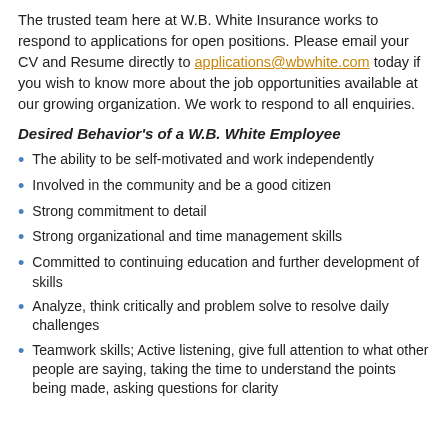The trusted team here at W.B. White Insurance works to respond to applications for open positions. Please email your CV and Resume directly to applications@wbwhite.com today if you wish to know more about the job opportunities available at our growing organization. We work to respond to all enquiries.
Desired Behavior's of a W.B. White Employee
The ability to be self-motivated and work independently
Involved in the community and be a good citizen
Strong commitment to detail
Strong organizational and time management skills
Committed to continuing education and further development of skills
Analyze, think critically and problem solve to resolve daily challenges
Teamwork skills; Active listening, give full attention to what other people are saying, taking the time to understand the points being made, asking questions for clarity